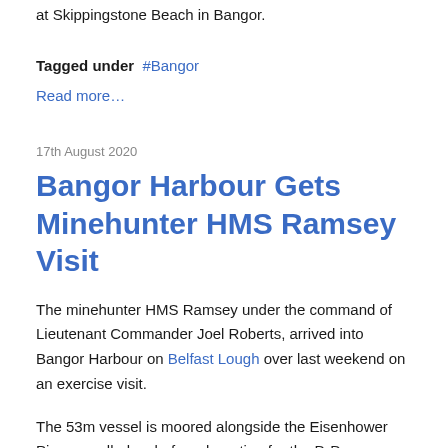at Skippingstone Beach in Bangor.
Tagged under  #Bangor
Read more…
17th August 2020
Bangor Harbour Gets Minehunter HMS Ramsey Visit
The minehunter HMS Ramsey under the command of Lieutenant Commander Joel Roberts, arrived into Bangor Harbour on Belfast Lough over last weekend on an exercise visit.
The 53m vessel is moored alongside the Eisenhower Pier, so-called as before departing for the D-Day landings of Normandy beaches in June 1944, General Dwight D. Eisenhower inspected the 30,000 American soldiers and sailors gathered in three huge